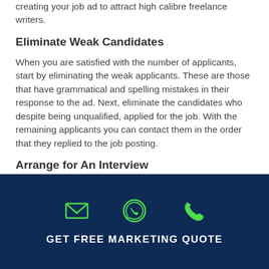creating your job ad to attract high calibre freelance writers.
Eliminate Weak Candidates
When you are satisfied with the number of applicants, start by eliminating the weak applicants. These are those that have grammatical and spelling mistakes in their response to the ad. Next, eliminate the candidates who despite being unqualified, applied for the job. With the remaining applicants you can contact them in the order that they replied to the job posting.
Arrange for An Interview
By conducting interviews, you will get to know
[Figure (infographic): Dark navy footer bar with three green icons (email envelope, WhatsApp logo, phone handset) and text 'GET FREE MARKETING QUOTE']